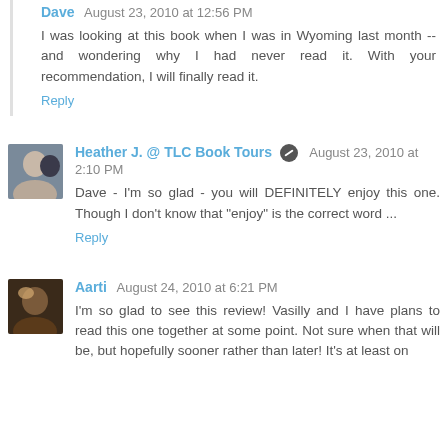Dave  August 23, 2010 at 12:56 PM
I was looking at this book when I was in Wyoming last month -- and wondering why I had never read it. With your recommendation, I will finally read it.
Reply
Heather J. @ TLC Book Tours  August 23, 2010 at 2:10 PM
Dave - I'm so glad - you will DEFINITELY enjoy this one. Though I don't know that "enjoy" is the correct word ...
Reply
Aarti  August 24, 2010 at 6:21 PM
I'm so glad to see this review! Vasilly and I have plans to read this one together at some point. Not sure when that will be, but hopefully sooner rather than later! It's at least on